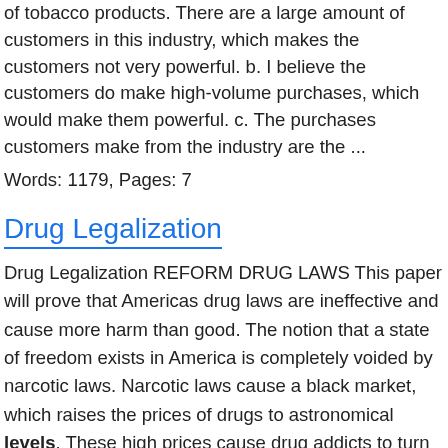of tobacco products. There are a large amount of customers in this industry, which makes the customers not very powerful. b. I believe the customers do make high-volume purchases, which would make them powerful. c. The purchases customers make from the industry are the ...
Words: 1179, Pages: 7
Drug Legalization
Drug Legalization REFORM DRUG LAWS This paper will prove that Americas drug laws are ineffective and cause more harm than good. The notion that a state of freedom exists in America is completely voided by narcotic laws. Narcotic laws cause a black market, which raises the prices of drugs to astronomical levels. These high prices cause drug addicts to turn to crime in order to support their habit. There exists substantial evidence that marijuana is less harmful than legal